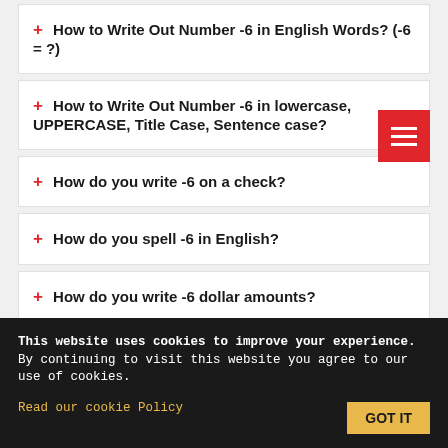+ How to Write Out Number -6 in English Words? (-6 = ?)
+ How to Write Out Number -6 in lowercase, UPPERCASE, Title Case, Sentence case?
+ How do you write -6 on a check?
+ How do you spell -6 in English?
+ How do you write -6 dollar amounts?
+ How Do You Spell -6 and USD -6?
This website uses cookies to improve your experience. By continuing to visit this website you agree to our use of cookies. Read our cookie Policy  GOT IT